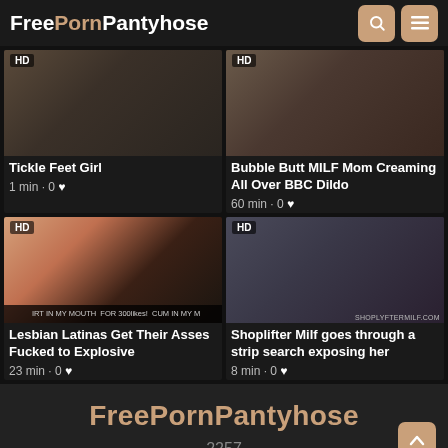FreePornPantyhose
[Figure (screenshot): Video thumbnail top-left: Tickle Feet Girl, HD badge]
Tickle Feet Girl
1 min · 0 ♥
[Figure (screenshot): Video thumbnail top-right: Bubble Butt MILF Mom Creaming All Over BBC Dildo, HD badge]
Bubble Butt MILF Mom Creaming All Over BBC Dildo
60 min · 0 ♥
[Figure (screenshot): Video thumbnail bottom-left: Lesbian Latinas Get Their Asses Fucked to Explosive, HD badge with bar text]
Lesbian Latinas Get Their Asses Fucked to Explosive
23 min · 0 ♥
[Figure (screenshot): Video thumbnail bottom-right: Shoplifter Milf goes through a strip search exposing her, HD badge, SHOPLYFTERMILF.COM watermark]
Shoplifter Milf goes through a strip search exposing her
8 min · 0 ♥
FreePornPantyhose 2257